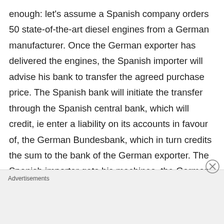enough: let's assume a Spanish company orders 50 state-of-the-art diesel engines from a German manufacturer. Once the German exporter has delivered the engines, the Spanish importer will advise his bank to transfer the agreed purchase price. The Spanish bank will initiate the transfer through the Spanish central bank, which will credit, ie enter a liability on its accounts in favour of, the German Bundesbank, which in turn credits the sum to the bank of the German exporter. The Spanish importer gets his machines, the German exporter receives his money, but – and here's the twist – the money
Advertisements